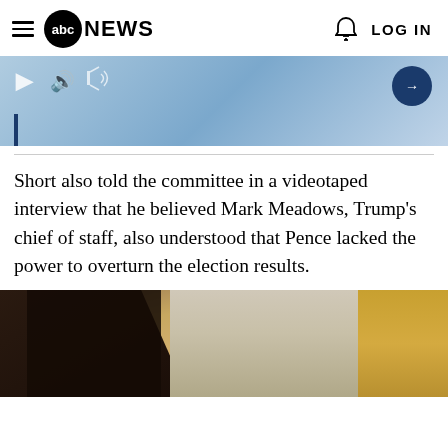abc NEWS   LOG IN
[Figure (screenshot): Partially visible video player with blue gradient background, play and sound icons on left, dark blue circular arrow button on right, and a vertical dark blue bar below]
Short also told the committee in a videotaped interview that he believed Mark Meadows, Trump's chief of staff, also understood that Pence lacked the power to overturn the election results.
[Figure (photo): Bottom portion of a photo showing what appears to be the Oval Office with a person in a dark suit in the foreground and President Trump visible in the background, with gold curtains and windows]